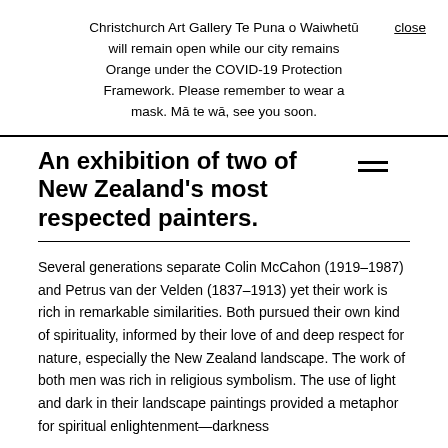Christchurch Art Gallery Te Puna o Waiwhetū will remain open while our city remains Orange under the COVID-19 Protection Framework. Please remember to wear a mask. Mā te wā, see you soon.
An exhibition of two of New Zealand's most respected painters.
Several generations separate Colin McCahon (1919–1987) and Petrus van der Velden (1837–1913) yet their work is rich in remarkable similarities. Both pursued their own kind of spirituality, informed by their love of and deep respect for nature, especially the New Zealand landscape. The work of both men was rich in religious symbolism. The use of light and dark in their landscape paintings provided a metaphor for spiritual enlightenment—darkness